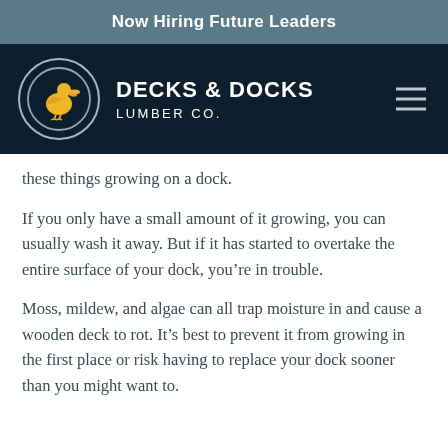Now Hiring Future Leaders
[Figure (logo): Decks & Docks Lumber Co. logo with pelican in circle and navigation bar]
these things growing on a dock.
If you only have a small amount of it growing, you can usually wash it away. But if it has started to overtake the entire surface of your dock, you’re in trouble.
Moss, mildew, and algae can all trap moisture in and cause a wooden deck to rot. It’s best to prevent it from growing in the first place or risk having to replace your dock sooner than you might want to.